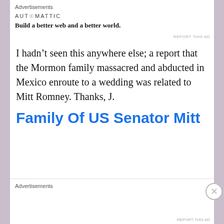Advertisements
[Figure (other): Automattic advertisement: logo text 'AUTOMATTIC' with a blue circle icon, tagline 'Build a better web and a better world.']
REPORT THIS AD
I hadn't seen this anywhere else; a report that the Mormon family massacred and abducted in Mexico enroute to a wedding was related to Mitt Romney. Thanks, J.
Family Of US Senator Mitt
Advertisements
REPORT THIS AD